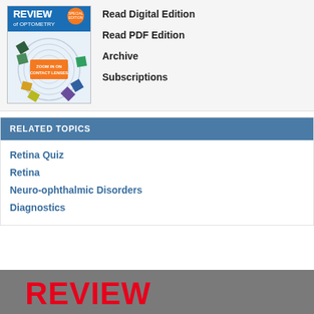[Figure (other): Review of Optometry magazine cover showing circular contact lens design with text 'ZOOM IN ON CONTACT LENSES']
Read Digital Edition
Read PDF Edition
Archive
Subscriptions
RELATED TOPICS
Retina Quiz
Retina
Neuro-ophthalmic Disorders
Diagnostics
[Figure (logo): Review of Optometry logo in red on grey footer bar]